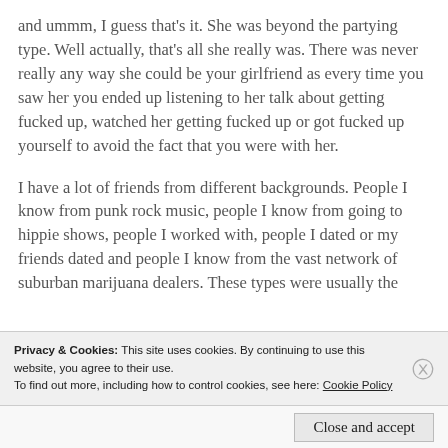and ummm, I guess that's it. She was beyond the partying type. Well actually, that's all she really was. There was never really any way she could be your girlfriend as every time you saw her you ended up listening to her talk about getting fucked up, watched her getting fucked up or got fucked up yourself to avoid the fact that you were with her.

I have a lot of friends from different backgrounds. People I know from punk rock music, people I know from going to hippie shows, people I worked with, people I dated or my friends dated and people I know from the vast network of suburban marijuana dealers. These types were usually the
Privacy & Cookies: This site uses cookies. By continuing to use this website, you agree to their use.
To find out more, including how to control cookies, see here: Cookie Policy
Close and accept